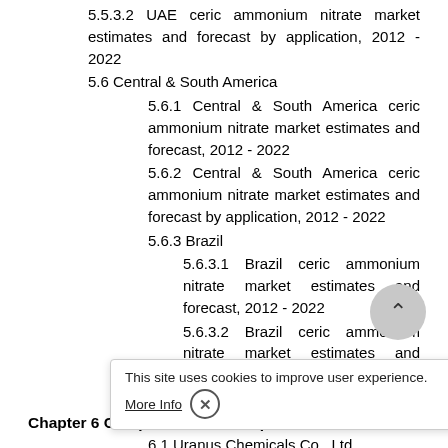5.5.3.2 UAE ceric ammonium nitrate market estimates and forecast by application, 2012 - 2022
5.6 Central & South America
5.6.1 Central & South America ceric ammonium nitrate market estimates and forecast, 2012 - 2022
5.6.2 Central & South America ceric ammonium nitrate market estimates and forecast by application, 2012 - 2022
5.6.3 Brazil
5.6.3.1 Brazil ceric ammonium nitrate market estimates and forecast, 2012 - 2022
5.6.3.2 Brazil ceric ammonium nitrate market estimates and forecast by application, 2012 - 2022
Chapter 6 Competitive Landscape
6.1 Uranus Chemicals Co., Ltd.
6.1.1 Company
6.1.2 Financia
6.1.3 Product